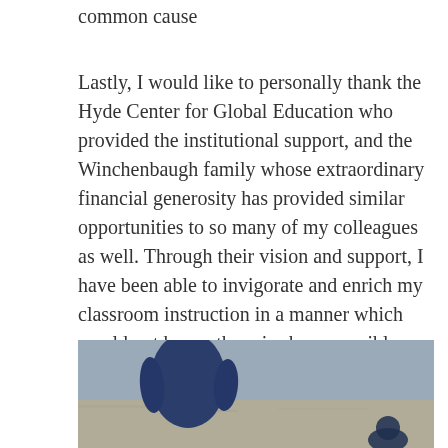common cause
Lastly, I would like to personally thank the Hyde Center for Global Education who provided the institutional support, and the Winchenbaugh family whose extraordinary financial generosity has provided similar opportunities to so many of my colleagues as well. Through their vision and support, I have been able to invigorate and enrich my classroom instruction in a manner which would not have otherwise been possible. Thank you!
[Figure (photo): A person wearing dark blue clothing standing outdoors on bare ground, with another figure partially visible at the bottom right.]